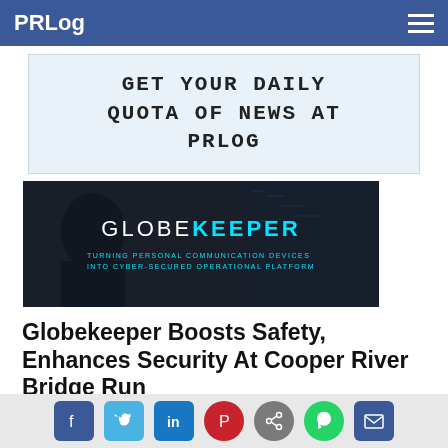PRLog
[Figure (other): PRLog advertisement banner: GET YOUR DAILY QUOTA OF NEWS AT PRLOG in monospace bold text on light blue background]
[Figure (other): Globekeeper advertisement: dark background with person silhouette, text GLOBEKEEPER in white/cyan and tagline TURNING PERSONAL COMMUNICATION DEVICES INTO CYBER-SECURED OPERATIONAL PLATFORM]
Globekeeper Boosts Safety, Enhances Security At Cooper River Bridge Run
Innovative Technology Empowers Law Enforcement Communications, Operations
GAINESVILLE, Ga. - April 28, 2016 - PRLog -- Participants
Social share icons: Facebook, Twitter, LinkedIn, Pinterest, Share, WhatsApp, Email